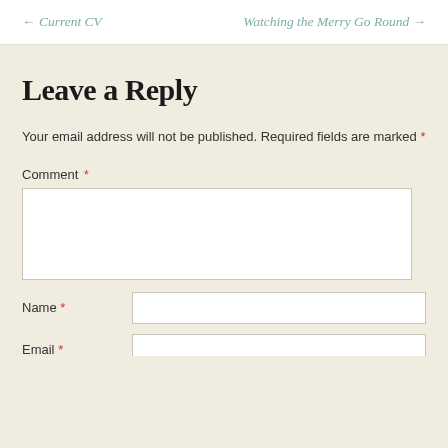← Current CV    Watching the Merry Go Round →
Leave a Reply
Your email address will not be published. Required fields are marked *
Comment *
Name *
Email *